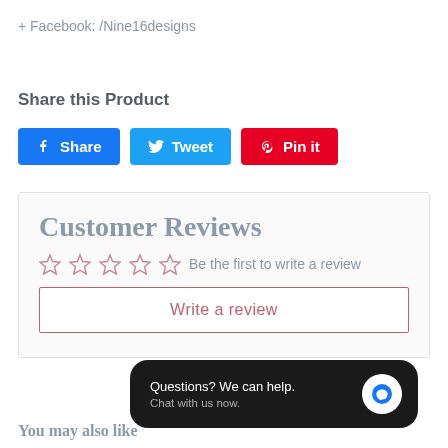+ Facebook: /Nine16designs
Share this Product
Share  Tweet  Pin it
Customer Reviews
☆☆☆☆☆  Be the first to write a review
Write a review
Questions? We can help. Chat with us now.
You may also like